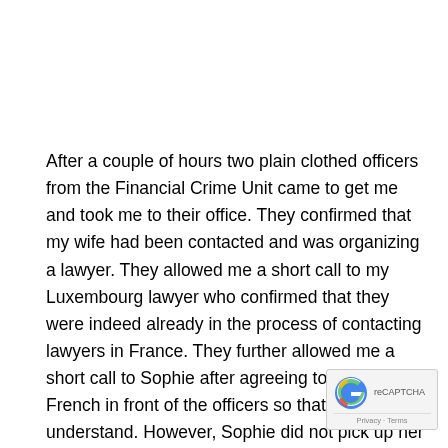After a couple of hours two plain clothed officers from the Financial Crime Unit came to get me and took me to their office. They confirmed that my wife had been contacted and was organizing a lawyer. They allowed me a short call to my Luxembourg lawyer who confirmed that they were indeed already in the process of contacting lawyers in France. They further allowed me a short call to Sophie after agreeing to speak French in front of the officers so that they could understand. However, Sophie did not pick up her phone and they refused me a second attempt. It was lunchtime after all. I was asked a few questions and answered, but I can't remember the nature of the questions anymore. I was told that all of this was connected to OneCoin, that I would be presented to a Prosecutor and then a Magistrate from the "Cour d'Appel de Nancy" who would lock me up awaiting my